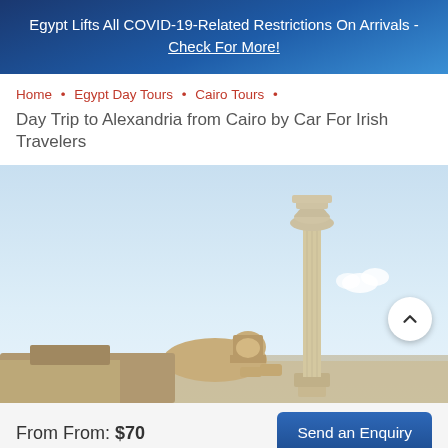Egypt Lifts All COVID-19-Related Restrictions On Arrivals - Check For More!
Home • Egypt Day Tours • Cairo Tours •
Day Trip to Alexandria from Cairo by Car For Irish Travelers
[Figure (photo): Photo of Alexandria landmarks: a sphinx sculpture and Pompey's Pillar column against a light blue sky]
From From: $70
Send an Enquiry